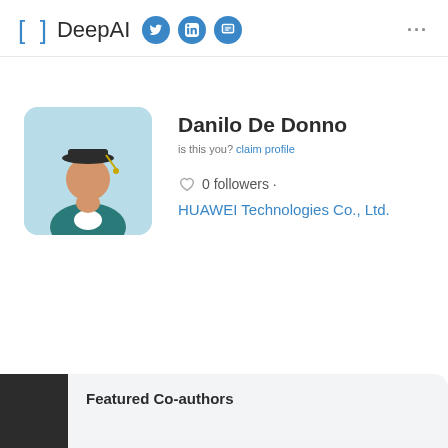DeepAI
[Figure (illustration): Avatar illustration of a graduate student wearing a mortarboard cap and academic gown, shown from the chest up against a light blue rounded-rectangle background.]
Danilo De Donno
is this you? claim profile
0 followers ·
HUAWEI Technologies Co., Ltd.
Featured Co-authors